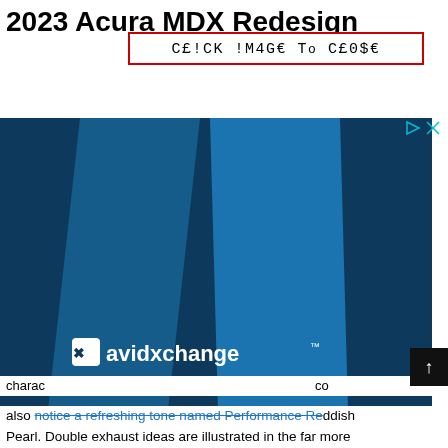2023 Acura MDX Redesign
[Figure (other): Ad overlay popup with text CEICK IM4GE TO CE0$E in red border, over a dark blue advertisement for AvidXchange with diagonal lighter blue stripes.]
charac                                          co
also notice a refreshing tone named Performance Reddish Pearl. Double exhaust ideas are illustrated in the far more